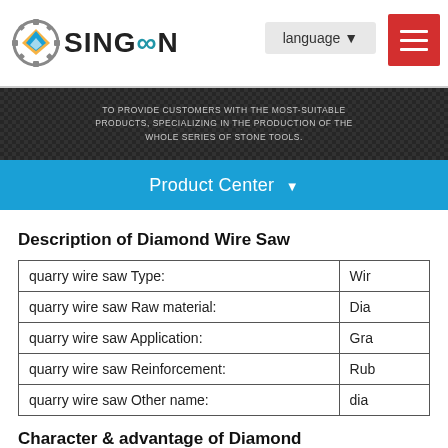[Figure (logo): SINGOON company logo with gear and diamond icon]
[Figure (photo): Dark textured hero banner with text: TO PROVIDE CUSTOMERS WITH THE MOST-SUITABLE PRODUCTS, SPECIALIZING IN THE PRODUCTION OF THE WHOLE SERIES OF STONE TOOLS.]
Product Center ▼
Description of Diamond Wire Saw
| quarry wire saw Type: | Wir |
| quarry wire saw Raw material: | Dia |
| quarry wire saw Application: | Gra |
| quarry wire saw Reinforcement: | Rub |
| quarry wire saw Other name: | dia |
Character & advantage of Diamond Wire Saw